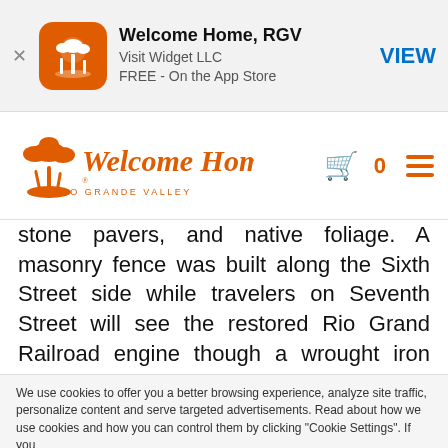[Figure (other): App store banner for 'Welcome Home, RGV' by Visit Widget LLC, FREE on the App Store, with VIEW button]
[Figure (logo): Welcome Home Rio Grande Valley logo in orange with palm tree icon, cart icon showing 0 and hamburger menu]
stone pavers, and native foliage. A masonry fence was built along the Sixth Street side while travelers on Seventh Street will see the restored Rio Grand Railroad engine though a wrought iron fence. The courtyard serves as a gracious passageway and meeting area between the historical displays in the museum and the education complex. A Spanish-style fountain enhances the effect more than $1million has been spent in bringing the museum to its present
We use cookies to offer you a better browsing experience, analyze site traffic, personalize content and serve targeted advertisements. Read about how we use cookies and how you can control them by clicking "Cookie Settings". If you